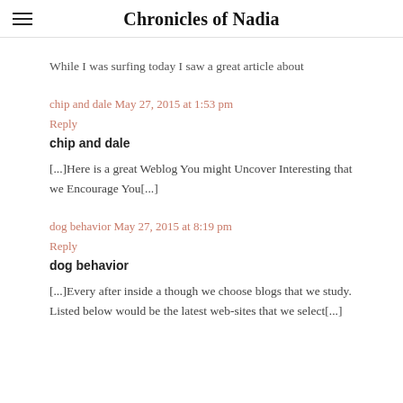Chronicles of Nadia
While I was surfing today I saw a great article about
chip and dale May 27, 2015 at 1:53 pm
Reply
chip and dale
[...]Here is a great Weblog You might Uncover Interesting that we Encourage You[...]
dog behavior May 27, 2015 at 8:19 pm
Reply
dog behavior
[...]Every after inside a though we choose blogs that we study. Listed below would be the latest web-sites that we select[...]